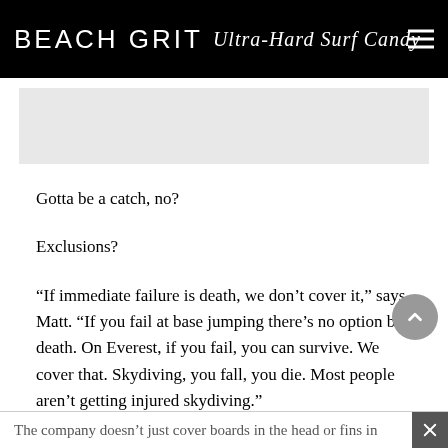BEACH GRIT Ultra-Hard Surf Candy
[Figure (other): Gray advertisement/image placeholder area]
Gotta be a catch, no?
Exclusions?
“If immediate failure is death, we don’t cover it,” says Matt. “If you fail at base jumping there’s no option but death. On Everest, if you fail, you can survive. We cover that. Skydiving, you fall, you die. Most people aren’t getting injured skydiving.”
The company doesn’t just cover boards in the head or fins in